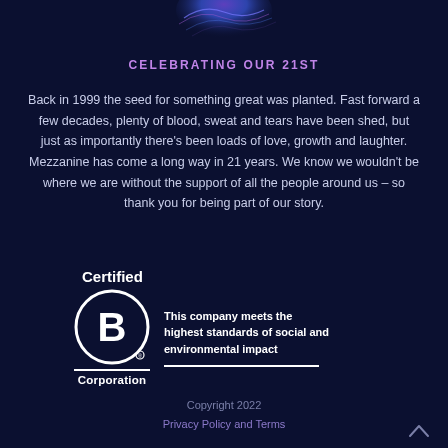[Figure (illustration): Abstract blue and purple wave/globe graphic at the top center of the page]
CELEBRATING OUR 21ST
Back in 1999 the seed for something great was planted. Fast forward a few decades, plenty of blood, sweat and tears have been shed, but just as importantly there's been loads of love, growth and laughter. Mezzanine has come a long way in 21 years. We know we wouldn't be where we are without the support of all the people around us – so thank you for being part of our story.
[Figure (logo): Certified B Corporation logo with circle B symbol and text 'Certified' above and 'Corporation' below, alongside text 'This company meets the highest standards of social and environmental impact']
Copyright 2022
Privacy Policy and Terms